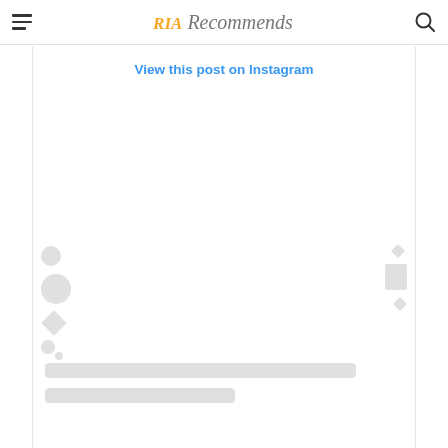RIA Recommends
View this post on Instagram
[Figure (screenshot): Instagram embedded post loading skeleton placeholder with circular avatar placeholders, action icon placeholders on left and right sides, and two grey loading bars at the bottom representing caption text loading state.]